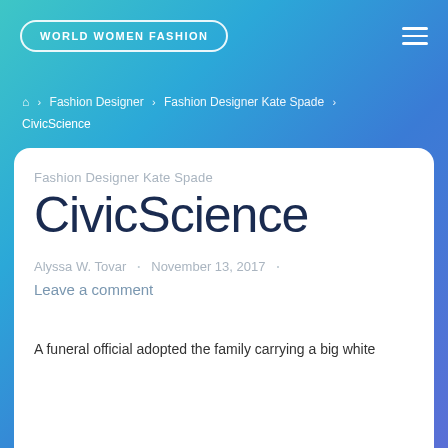WORLD WOMEN FASHION
Home › Fashion Designer › Fashion Designer Kate Spade › CivicScience
Fashion Designer Kate Spade
CivicScience
Alyssa W. Tovar · November 13, 2017 · Leave a comment
A funeral official adopted the family carrying a big white